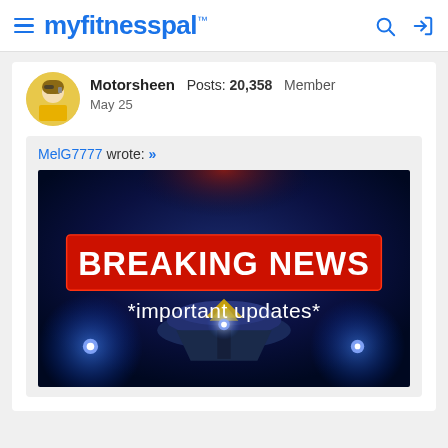myfitnesspal
Motorsheen Posts: 20,358 Member
May 25
MelG7777 wrote: »
[Figure (photo): Breaking News graphic with text 'BREAKING NEWS' on a red banner and '*important updates*' below, on a dark blue dramatic background with police lights and a satellite dish.]